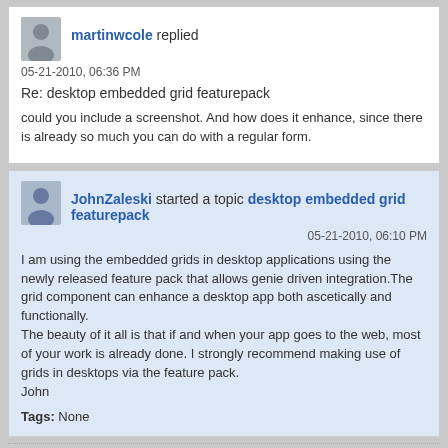martinwcole replied
05-21-2010, 06:36 PM
Re: desktop embedded grid featurepack
could you include a screenshot. And how does it enhance, since there is already so much you can do with a regular form.
JohnZaleski started a topic desktop embedded grid featurepack
05-21-2010, 06:10 PM
I am using the embedded grids in desktop applications using the newly released feature pack that allows genie driven integration.The grid component can enhance a desktop app both ascetically and functionally.
The beauty of it all is that if and when your app goes to the web, most of your work is already done. I strongly recommend making use of grids in desktops via the feature pack.
John
Tags: None